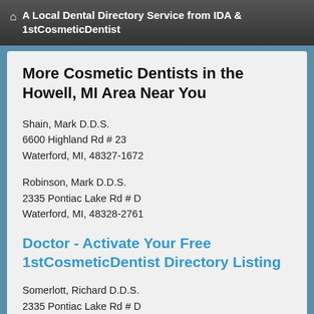A Local Dental Directory Service from IDA & 1stCosmeticDentist
More Cosmetic Dentists in the Howell, MI Area Near You
Shain, Mark D.D.S.
6600 Highland Rd # 23
Waterford, MI, 48327-1672
Robinson, Mark D.D.S.
2335 Pontiac Lake Rd # D
Waterford, MI, 48328-2761
Doctor - Activate Your Free 1stCosmeticDentist Directory Listing
Somerlott, Richard D.D.S.
2335 Pontiac Lake Rd # D
Waterford, MI, 48328-2761
Hoen, Michael D.D.S.